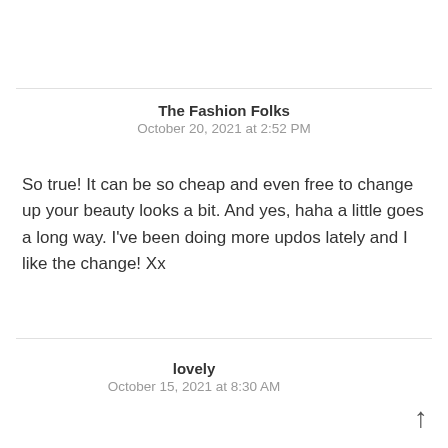The Fashion Folks
October 20, 2021 at 2:52 PM
So true! It can be so cheap and even free to change up your beauty looks a bit. And yes, haha a little goes a long way. I've been doing more updos lately and I like the change! Xx
lovely
October 15, 2021 at 8:30 AM